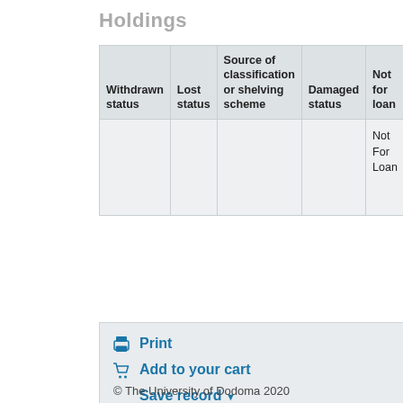Holdings
| Withdrawn status | Lost status | Source of classification or shelving scheme | Damaged status | Not for loan | Perm locat |
| --- | --- | --- | --- | --- | --- |
|  |  |  |  | Not For Loan | Libra Colle Huma and S Scien |
Print
Add to your cart
Save record ▾
More searches ▾
© The University of Dodoma 2020